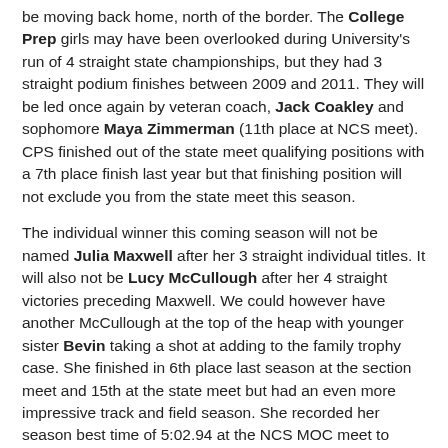be moving back home, north of the border. The College Prep girls may have been overlooked during University's run of 4 straight state championships, but they had 3 straight podium finishes between 2009 and 2011. They will be led once again by veteran coach, Jack Coakley and sophomore Maya Zimmerman (11th place at NCS meet). CPS finished out of the state meet qualifying positions with a 7th place finish last year but that finishing position will not exclude you from the state meet this season.
The individual winner this coming season will not be named Julia Maxwell after her 3 straight individual titles. It will also not be Lucy McCullough after her 4 straight victories preceding Maxwell. We could however have another McCullough at the top of the heap with younger sister Bevin taking a shot at adding to the family trophy case. She finished in 6th place last season at the section meet and 15th at the state meet but had an even more impressive track and field season. She recorded her season best time of 5:02.94 at the NCS MOC meet to finish in 7th place. She also ran 11:34.09 at the Class A Meet. She will need to get past Veronica Aguila of St. Joseph Notre Dame who